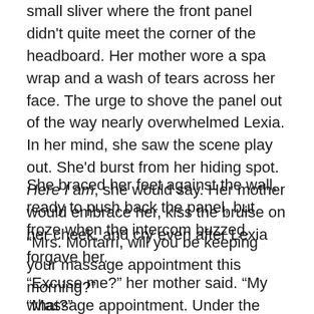small sliver where the front panel didn't quite meet the corner of the headboard. Her mother wore a spa wrap and a wash of tears across her face. The urge to shove the panel out of the way nearly overwhelmed Lexia. In her mind, she saw the scene play out. She'd burst from her hiding spot. Here I am, she would say. Her mother would embrace her, kiss the bruise on her cheek, and cry even after Lexia forgave her.
She braced her feet against the wall, ready to push back the panel, but froze when the intercom buzzed.
“Mrs. Mortarri, will you be keeping your massage appointment this morning?”
“Excuse me?” her mother said. “My what?”
“Massage appointment. Under the circumstances, we can